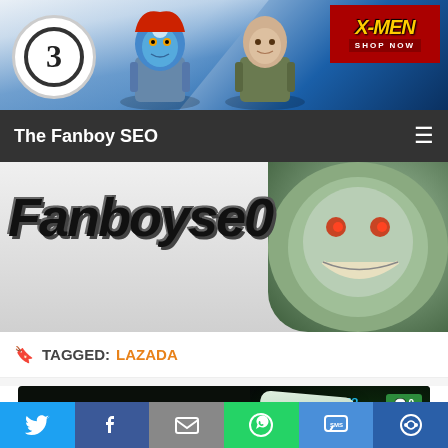[Figure (photo): X-Men themed banner advertisement with Funko Pop figures of Mystique and Professor X, circular logo on left, X-Men logo with SHOP NOW button on right]
The Fanboy SEO
[Figure (logo): FanboySEO logo with stylized text and anime character illustration in green/grey background]
TAGGED: LAZADA
[Figure (photo): narzo 50i PRIME smartphone advertisement showing phone back view with text 'ready to iNVADE?' and narzo branding, comment count badge showing 0]
[Figure (infographic): Social share bar with Twitter, Facebook, Email, WhatsApp, SMS, and other sharing buttons]